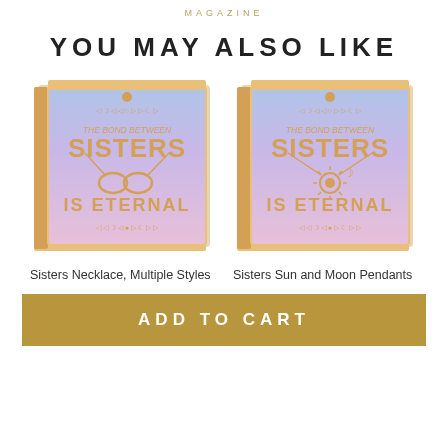MAGAZINE
YOU MAY ALSO LIKE
[Figure (photo): Sisters Necklace jewelry box with purple-blue gradient background, gold 'THE BOND BETWEEN SISTERS IS ETERNAL' text and gold infinity necklace displayed inside a tan/beige box]
Sisters Necklace, Multiple Styles
[Figure (photo): Sisters Sun and Moon Pendants jewelry box with purple-blue gradient background, gold 'THE BOND BETWEEN SISTERS IS ETERNAL' text and gold sun and moon pendant necklace displayed inside a tan/beige box]
Sisters Sun and Moon Pendants
ADD TO CART